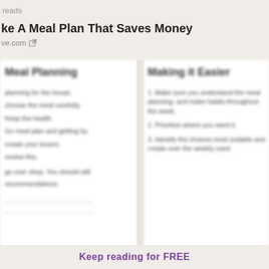reads
ke A Meal Plan That Saves Money
ve.com
Meal Planning
planning for the house
choose the meal carefully
Keep the health
Go meal plan and getting by
create your lesson
review this
go over shop. You should still
recommendations
Making it Easier
1. Make sure you understand the meal planning, and make habits throughout the week
2. Prioritize where you need it
3. Identify the choices most suitable and create over the weekly used
Keep reading for FREE